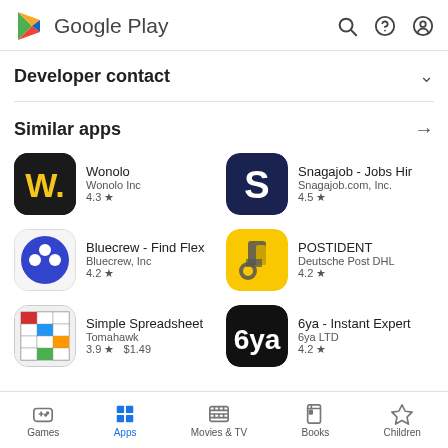Google Play
Developer contact
Similar apps
Wonolo, Wonolo Inc, 4.3
Snagajob - Jobs Hir, Snagajob.com, Inc., 4.5
Bluecrew - Find Flex, Bluecrew, Inc, 4.2
POSTIDENT, Deutsche Post DHL, 4.2
Simple Spreadsheet, Tomahawk, 3.9, $1.49
6ya - Instant Expert, 6ya LTD, 4.2
Games | Apps | Movies & TV | Books | Children